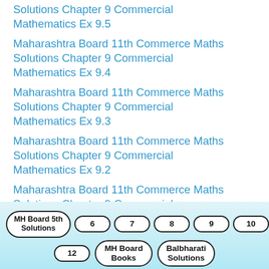Solutions Chapter 9 Commercial Mathematics Ex 9.5
Maharashtra Board 11th Commerce Maths Solutions Chapter 9 Commercial Mathematics Ex 9.4
Maharashtra Board 11th Commerce Maths Solutions Chapter 9 Commercial Mathematics Ex 9.3
Maharashtra Board 11th Commerce Maths Solutions Chapter 9 Commercial Mathematics Ex 9.2
Maharashtra Board 11th Commerce Maths Solutions Chapter 9 Commercial Mathematics Ex 9.1
MH Board 5th Solutions  6  7  8  9  10  11  12  MH Board Books  Balbharati Solutions